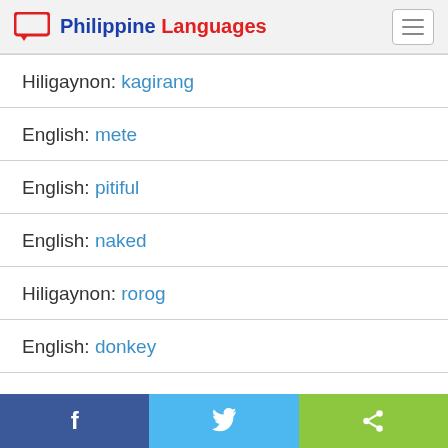Philippine Languages
Hiligaynon: kagirang
English: mete
English: pitiful
English: naked
Hiligaynon: rorog
English: donkey
Facebook | Twitter | Share